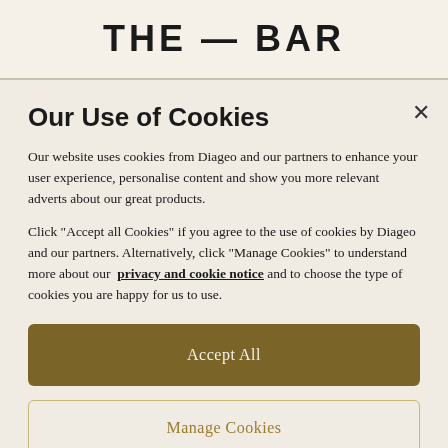THE — BAR
Our Use of Cookies
Our website uses cookies from Diageo and our partners to enhance your user experience, personalise content and show you more relevant adverts about our great products.
Click "Accept all Cookies" if you agree to the use of cookies by Diageo and our partners. Alternatively, click "Manage Cookies" to understand more about our privacy and cookie notice and to choose the type of cookies you are happy for us to use.
Accept All
Manage Cookies